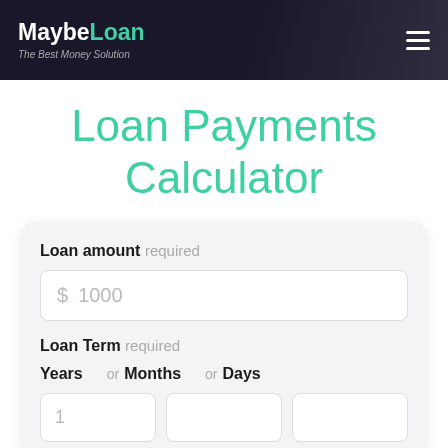MaybeLoan - The Best Money Solution
Loan Payments Calculator
Loan amount required
$ 1000
Loan Term required
Years or Months or Days
1